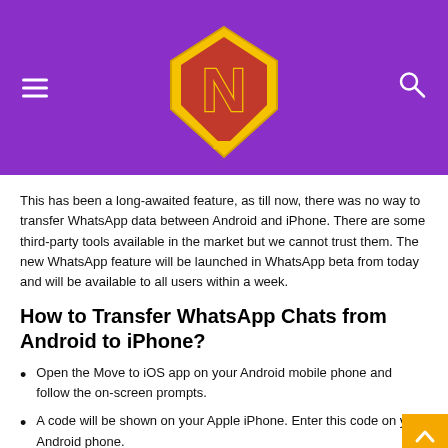[Figure (logo): Purple header bar with a superhero diamond logo featuring a red/gold 'N' with lightning bolt, hamburger menu icon on left, search icon on right]
This has been a long-awaited feature, as till now, there was no way to transfer WhatsApp data between Android and iPhone. There are some third-party tools available in the market but we cannot trust them. The new WhatsApp feature will be launched in WhatsApp beta from today and will be available to all users within a week.
How to Transfer WhatsApp Chats from Android to iPhone?
Open the Move to iOS app on your Android mobile phone and follow the on-screen prompts.
A code will be shown on your Apple iPhone. Enter this code on your Android phone.